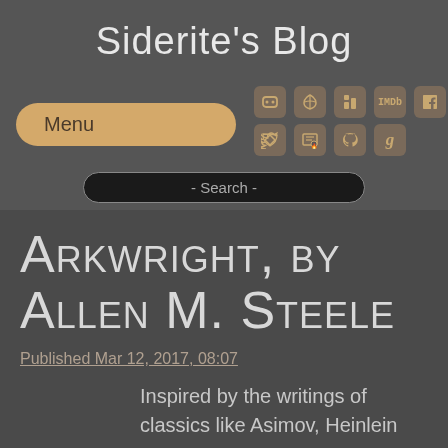Siderite's Blog
[Figure (screenshot): Navigation menu button labeled 'Menu' with rounded rectangle styling in tan/golden color, and social media icon grid (Discord, RSS, LinkedIn, IMDb, Facebook, Twitter, Stack Exchange, GitHub, Goodreads) in brown icon boxes]
[Figure (screenshot): Search bar with text '- Search -' on dark background with rounded pill shape]
Arkwright, by Allen M. Steele
Published Mar 12, 2017, 08:07
Inspired by the writings of classics like Asimov, Heinlein